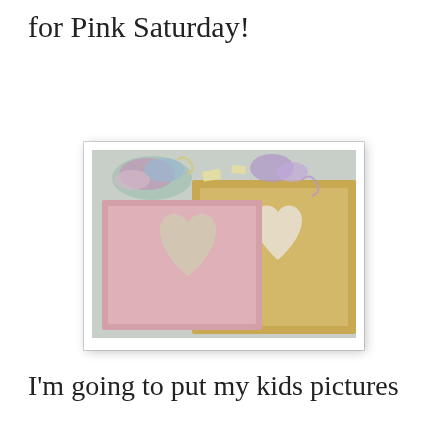for Pink Saturday!
[Figure (photo): Photo of pink and gold/kraft paper frames with heart-shaped cutouts, surrounded by colorful ribbons and craft supplies on a table.]
I'm going to put my kids pictures